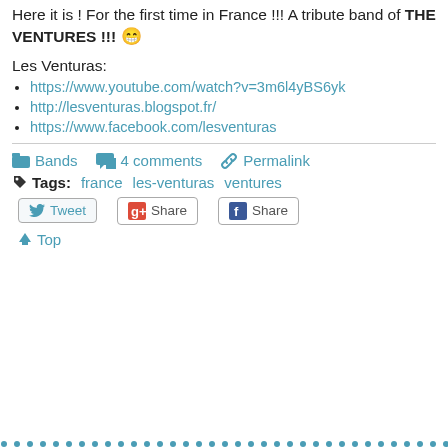Here it is ! For the first time in France !!! A tribute band of THE VENTURES !!! 😁
Les Venturas:
https://www.youtube.com/watch?v=3m6l4yBS6yk
http://lesventuras.blogspot.fr/
https://www.facebook.com/lesventuras
Bands  4 comments  Permalink  Tags: france  les-venturas  ventures  Tweet  Share  Share  ⬆ Top